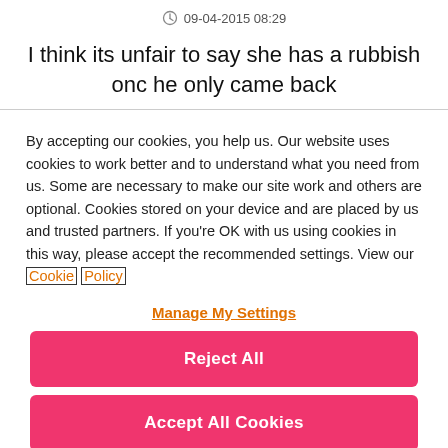09-04-2015 08:29
I think its unfair to say she has a rubbish onc he only came back
By accepting our cookies, you help us. Our website uses cookies to work better and to understand what you need from us. Some are necessary to make our site work and others are optional. Cookies stored on your device and are placed by us and trusted partners. If you're OK with us using cookies in this way, please accept the recommended settings. View our Cookie Policy
Manage My Settings
Reject All
Accept All Cookies